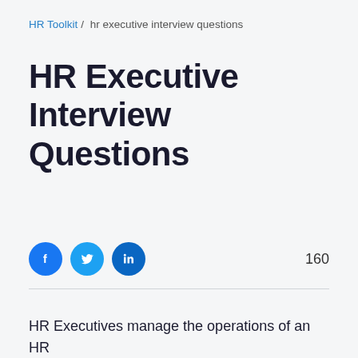HR Toolkit / hr executive interview questions
HR Executive Interview Questions
[Figure (infographic): Social share buttons (Facebook, Twitter, LinkedIn) and a clapping hands icon with count 160]
HR Executives manage the operations of an HR